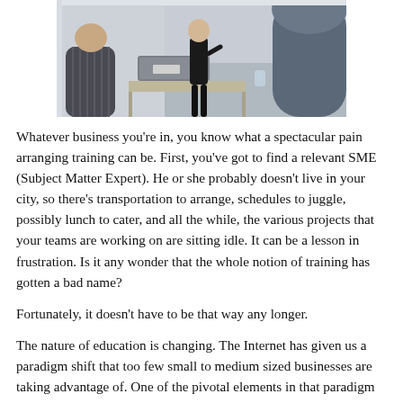[Figure (photo): A business training/conference scene photographed from behind an attendee in a blue suit jacket, showing a presenter in a dark suit standing at the front of the room near equipment cases and a table, with another attendee in a striped jacket visible on the left.]
Whatever business you're in, you know what a spectacular pain arranging training can be. First, you've got to find a relevant SME (Subject Matter Expert). He or she probably doesn't live in your city, so there's transportation to arrange, schedules to juggle, possibly lunch to cater, and all the while, the various projects that your teams are working on are sitting idle. It can be a lesson in frustration. Is it any wonder that the whole notion of training has gotten a bad name?
Fortunately, it doesn't have to be that way any longer.
The nature of education is changing. The Internet has given us a paradigm shift that too few small to medium sized businesses are taking advantage of. One of the pivotal elements in that paradigm